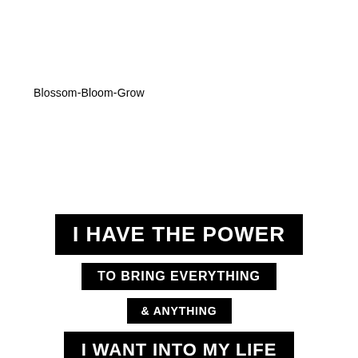Blossom-Bloom-Grow
I HAVE THE POWER TO BRING EVERYTHING & ANYTHING I WANT INTO MY LIFE